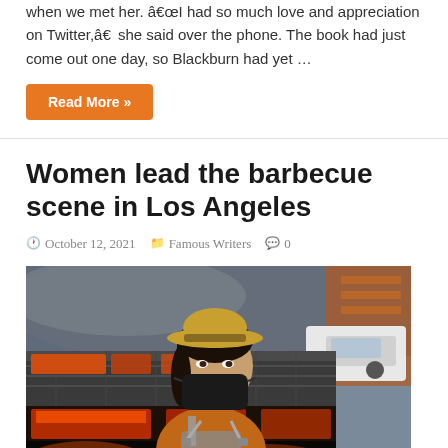when we met her. â€œI had so much love and appreciation on Twitter,â€  she said over the phone. The book had just come out one day, so Blackburn had yet …
Read More »
Women lead the barbecue scene in Los Angeles
October 12, 2021   Famous Writers   0
[Figure (photo): Woman wearing a straw hat and black face mask standing in front of a large barbecue grill with meat cooking, wearing an orange t-shirt and apron. A white pickup truck is visible in the background.]